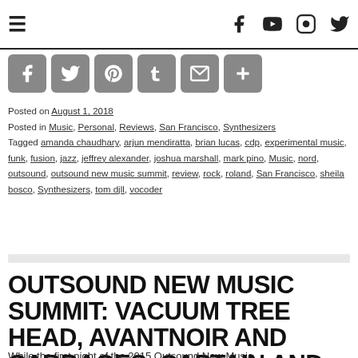≡   f  ▶  📷  🐦
[Figure (screenshot): Social share bar with Facebook, Twitter, Pinterest, Tumblr, Mail, and Plus button icons in grey rounded squares]
Posted on August 1, 2018
Posted in Music, Personal, Reviews, San Francisco, Synthesizers
Tagged amanda chaudhary, arjun mendiratta, brian lucas, cdp, experimental music, funk, fusion, jazz, jeffrey alexander, joshua marshall, mark pino, Music, nord, outsound, outsound new music summit, review, rock, roland, San Francisco, sheila bosco, Synthesizers, tom djll, vocoder
OUTSOUND NEW MUSIC SUMMIT: VACUUM TREE HEAD, AVANTNOIR AND CABBAGES, CAPTAIN AND KING
While the first night of the 2015 Outsound New Music